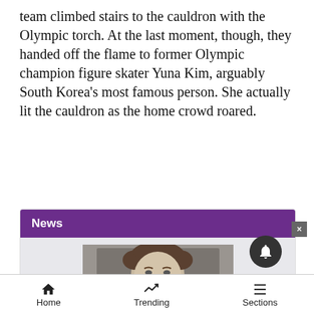team climbed stairs to the cauldron with the Olympic torch. At the last moment, though, they handed off the flame to former Olympic champion figure skater Yuna Kim, arguably South Korea's most famous person. She actually lit the cauldron as the home crowd roared.
News
[Figure (photo): Black and white photo of a man with curly hair and a mustache wearing a striped polo shirt]
Home | Trending | Sections